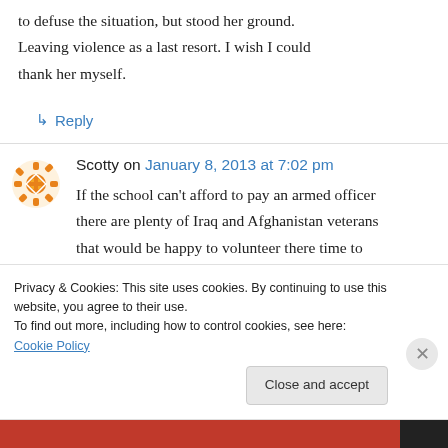to defuse the situation, but stood her ground. Leaving violence as a last resort. I wish I could thank her myself.
↳ Reply
Scotty on January 8, 2013 at 7:02 pm
If the school can't afford to pay an armed officer there are plenty of Iraq and Afghanistan veterans that would be happy to volunteer there time to protect the kids at school.
Privacy & Cookies: This site uses cookies. By continuing to use this website, you agree to their use.
To find out more, including how to control cookies, see here: Cookie Policy